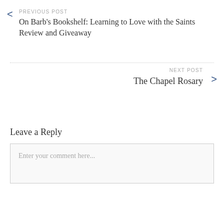PREVIOUS POST
On Barb’s Bookshelf: Learning to Love with the Saints Review and Giveaway
NEXT POST
The Chapel Rosary
Leave a Reply
Enter your comment here...